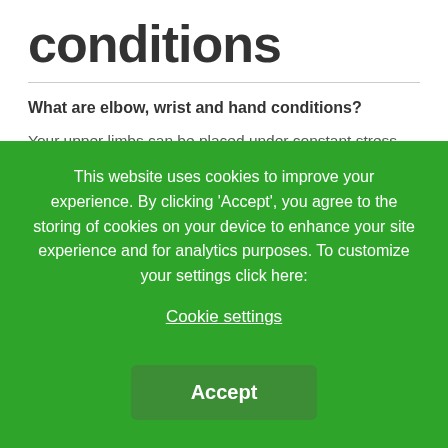conditions
What are elbow, wrist and hand conditions?
Your upper limbs can be placed under constant stress and strain. Elbow, hand and wrist pain can happen to anyone, whether you are sedentary or extremely active.
In order to give us such a precise range of flexibility and
This website uses cookies to improve your experience. By clicking 'Accept', you agree to the storing of cookies on your device to enhance your site experience and for analytics purposes. To customize your settings click here:
Cookie settings
Accept